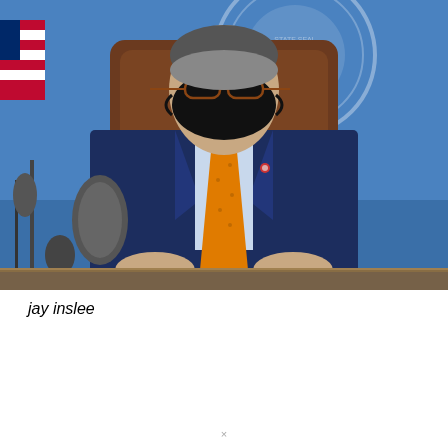[Figure (photo): A man in a navy blue suit with an orange tie and black face mask sits in a brown leather chair in front of a blue background with a circular government seal. Microphones are visible on the left side. An American flag is partially visible in the background.]
jay inslee